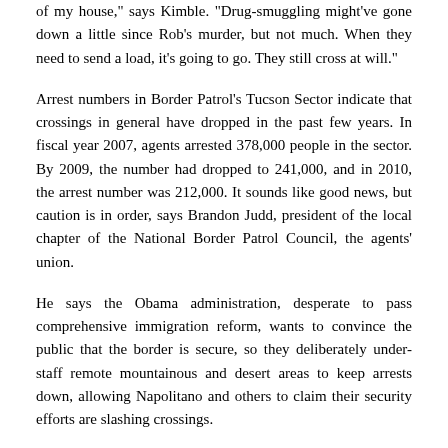of my house," says Kimble. "Drug-smuggling might've gone down a little since Rob's murder, but not much. When they need to send a load, it's going to go. They still cross at will."
Arrest numbers in Border Patrol's Tucson Sector indicate that crossings in general have dropped in the past few years. In fiscal year 2007, agents arrested 378,000 people in the sector. By 2009, the number had dropped to 241,000, and in 2010, the arrest number was 212,000. It sounds like good news, but caution is in order, says Brandon Judd, president of the local chapter of the National Border Patrol Council, the agents' union.
He says the Obama administration, desperate to pass comprehensive immigration reform, wants to convince the public that the border is secure, so they deliberately under-staff remote mountainous and desert areas to keep arrests down, allowing Napolitano and others to claim their security efforts are slashing crossings.
Judd says better enforcement has indeed made the border more secure in some areas, such as right behind the new fencing east and west of Nogales, where most of the new agents have been placed. But staffing hasn't been increased in remote regions, including the mountains west of Nogales. "The border in those